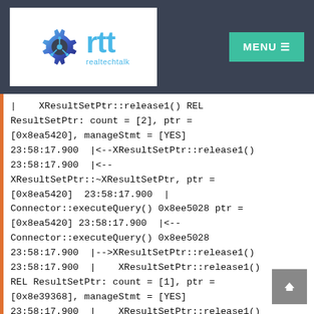[Figure (logo): realtechtalk logo with gear icon and rtt text on white background, with MENU button in teal]
|    XResultSetPtr::release1() REL ResultSetPtr: count = [2], ptr = [0x8ea5420], manageStmt = [YES]
23:58:17.900  |<--XResultSetPtr::release1()
23:58:17.900  |<--XResultSetPtr::~XResultSetPtr, ptr = [0x8ea5420]  23:58:17.900  | Connector::executeQuery() 0x8ee5028 ptr = [0x8ea5420] 23:58:17.900  |<--Connector::executeQuery() 0x8ee5028
23:58:17.900  |-->XResultSetPtr::release1()
23:58:17.900  |    XResultSetPtr::release1() REL ResultSetPtr: count = [1], ptr = [0x8e39368], manageStmt = [YES]
23:58:17.900  |    XResultSetPtr::release1() ABOUT TO DEL RS, ptr = [0x8e39368]
23:58:17.900  |<-- XResultSetPtr::...release1()